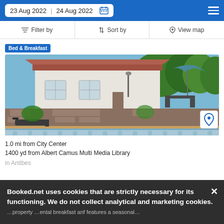23 Aug 2022   24 Aug 2022
Filter by   Sort by   View map
Bed & Breakfast
[Figure (photo): Exterior photo of a Bed & Breakfast property with a stone wall, white building, trees, outdoor seating, and a swimming pool in the foreground with a blue tiled edge.]
1.0 mi from City Center
1400 yd from Albert Camus Multi Media Library
in Antibes
Booked.net uses cookies that are strictly necessary for its functioning. We do not collect analytical and marketing cookies.